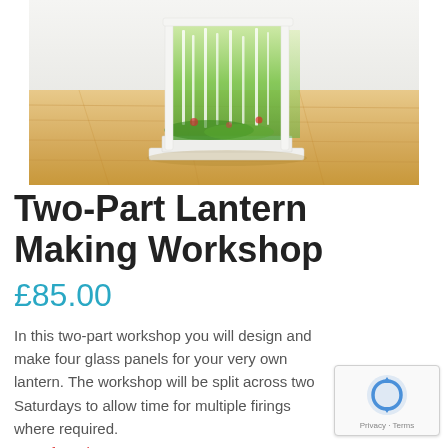[Figure (photo): A white wooden lantern with four glass panels decorated with painted green birch trees, sitting on a light oak wooden surface. The lantern is photographed from a low angle showing its decorative fused glass panels.]
Two-Part Lantern Making Workshop
£85.00
In this two-part workshop you will design and make four glass panels for your very own lantern. The workshop will be split across two Saturdays to allow time for multiple firings where required.
Out of stock